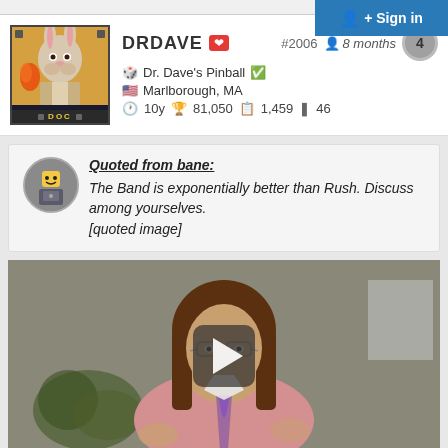Sign in
DRDAVE ❤ #2006 8 months 4
Dr. Dave's Pinball ✓ Marlborough, MA 10y 81,050 1,459 46
Quoted from bane: The Band is exponentially better than Rush. Discuss among yourselves. [quoted image]
[Figure (screenshot): Video player showing a man with long hair and glasses wearing a pink shirt and tie, with a play button overlay in the center]